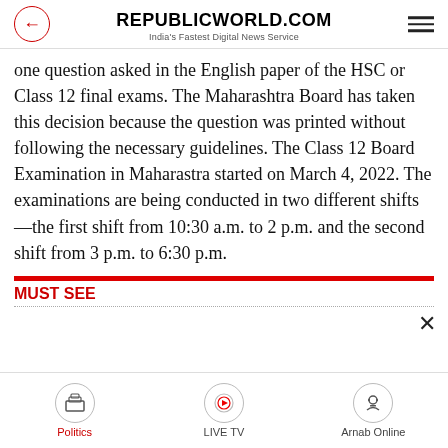REPUBLICWORLD.COM
India's Fastest Digital News Service
one question asked in the English paper of the HSC or Class 12 final exams. The Maharashtra Board has taken this decision because the question was printed without following the necessary guidelines. The Class 12 Board Examination in Maharastra started on March 4, 2022. The examinations are being conducted in two different shifts—the first shift from 10:30 a.m. to 2 p.m. and the second shift from 3 p.m. to 6:30 p.m.
MUST SEE
Politics | LIVE TV | Arnab Online